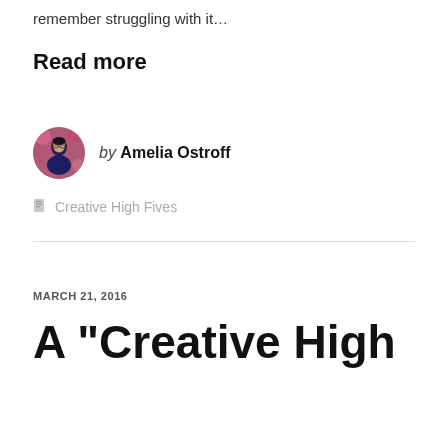remember struggling with it…
Read more
[Figure (photo): Circular avatar photo of Amelia Ostroff, a woman with dark hair and glasses, in front of a floral background]
by Amelia Ostroff
Creative High Fives
MARCH 21, 2016
A "Creative High